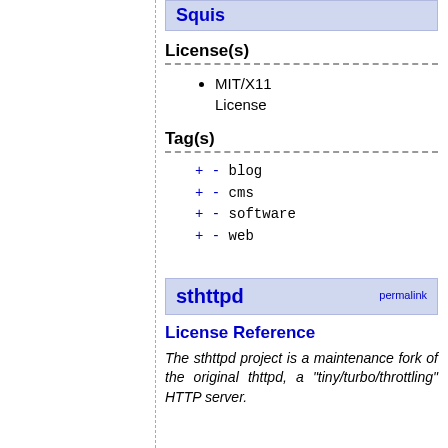[Figure (other): Top blue-shaded box with bold blue title (partially visible, shows 'Squis' or similar)]
License(s)
MIT/X11 License
Tag(s)
+ -  blog
+ -  cms
+ -  software
+ -  web
sthttpd
License Reference
The sthttpd project is a maintenance fork of the original thttpd, a "tiny/turbo/throttling" HTTP server.